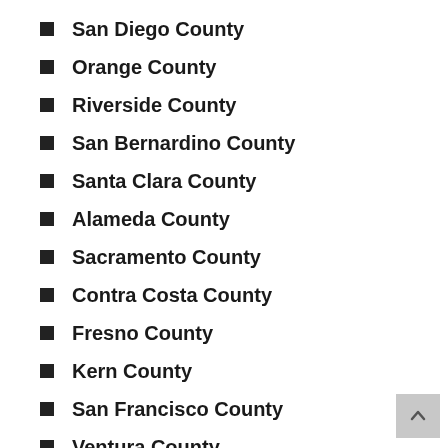San Diego County
Orange County
Riverside County
San Bernardino County
Santa Clara County
Alameda County
Sacramento County
Contra Costa County
Fresno County
Kern County
San Francisco County
Ventura County
San Mateo County